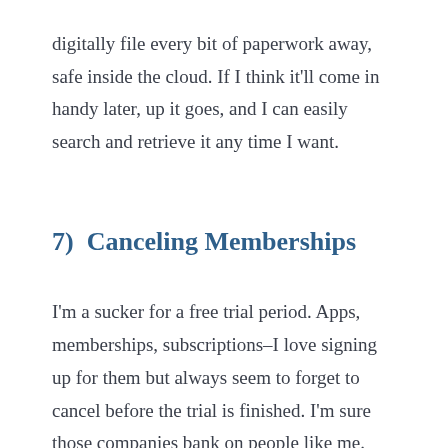digitally file every bit of paperwork away, safe inside the cloud. If I think it'll come in handy later, up it goes, and I can easily search and retrieve it any time I want.
7)  Canceling Memberships
I'm a sucker for a free trial period. Apps, memberships, subscriptions–I love signing up for them but always seem to forget to cancel before the trial is finished. I'm sure those companies bank on people like me. Every time I see a charge for a